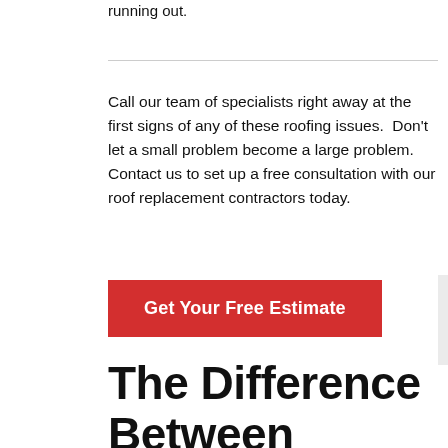running out.
Call our team of specialists right away at the first signs of any of these roofing issues.  Don't let a small problem become a large problem.  Contact us to set up a free consultation with our roof replacement contractors today.
Get Your Free Estimate
The Difference Between Replacing and